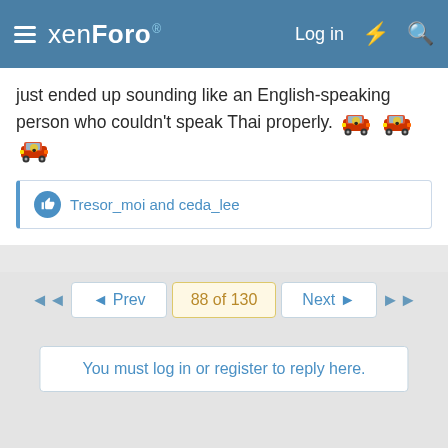xenForo — Log in
just ended up sounding like an English-speaking person who couldn't speak Thai properly. [emoji x3]
Tresor_moi and ceda_lee
◄ Prev  88 of 130  Next ►
You must log in or register to reply here.